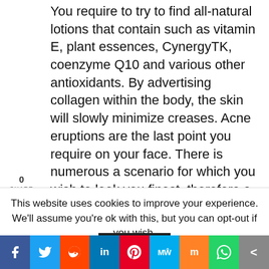You require to try to find all-natural lotions that contain such as vitamin E, plant essences, CynergyTK, coenzyme Q10 and various other antioxidants. By advertising collagen within the body, the skin will slowly minimize creases. Acne eruptions are the last point you require on your face. There is numerous a scenario for which you wish to look you finest, therefore a body acne treatment is essential for your skin. In this post I will certainly detail some reminders that will certainly aid you.
Below are 5 reliable natural remedies you require to recognize: Toothpaste is recognized to be an acne remedy. The mint attracts warm from the place, creating them to recover. If you have completely dry
This website uses cookies to improve your experience. We'll assume you're ok with this, but you can opt-out if you wish.